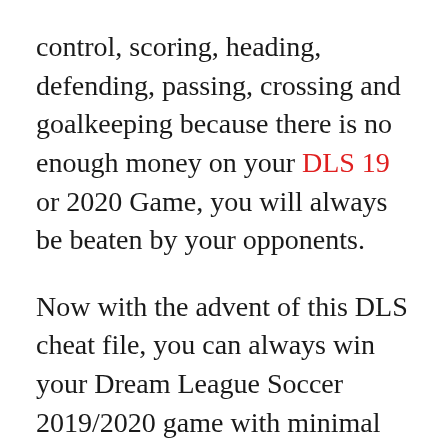control, scoring, heading, defending, passing, crossing and goalkeeping because there is no enough money on your DLS 19 or 2020 Game, you will always be beaten by your opponents.
Now with the advent of this DLS cheat file, you can always win your Dream League Soccer 2019/2020 game with minimal loses. With this, all teams and features will remain available to you. So this Profile.dat file is recommended for DLS hack because there is no need for Lucky Patcher which often prevents you from getting updates, or SB Game hacker which as well requires root on